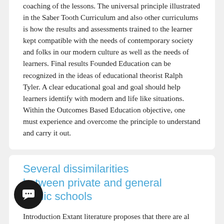coaching of the lessons. The universal principle illustrated in the Saber Tooth Curriculum and also other curriculums is how the results and assessments trained to the learner kept compatible with the needs of contemporary society and folks in our modern culture as well as the needs of learners. Final results Founded Education can be recognized in the ideas of educational theorist Ralph Tyler. A clear educational goal and goal should help learners identify with modern and life like situations. Within the Outcomes Based Education objective, one must experience and overcome the principle to understand and carry it out.
Several dissimilarities between private and general public schools
Introduction Extant literature proposes that there are al distinctions between private and general c universities in term of governance, facilities and even the curriculum. These studies do however record both similarities and distinctions of these